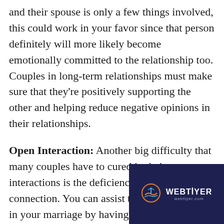and their spouse is only a few things involved, this could work in your favor since that person definitely will more likely become emotionally committed to the relationship too. Couples in long-term relationships must make sure that they're positively supporting the other and helping reduce negative opinions in their relationships.
Open Interaction: Another big difficulty that many couples have to cured in their interactions is the deficiency of open connection. You can assist to reduce negativity in your marriage by having open interc with your spouse. You need to be oral c what you're feeling or pondering, even think it's stupid. If you have open up
[Figure (logo): Webtiyer logo on dark navy background with a circular wave/boat icon and the text WEBTIYER]